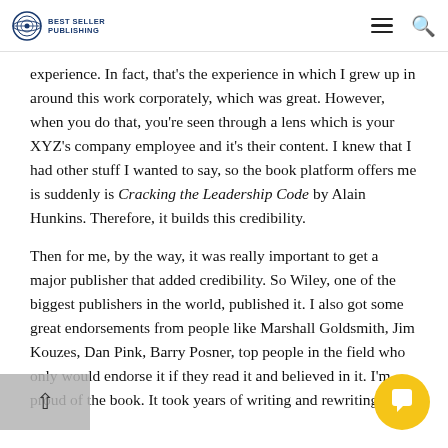Best Seller Publishing
experience. In fact, that's the experience in which I grew up in around this work corporately, which was great. However, when you do that, you're seen through a lens which is your XYZ's company employee and it's their content. I knew that I had other stuff I wanted to say, so the book platform offers me is suddenly is Cracking the Leadership Code by Alain Hunkins. Therefore, it builds this credibility.
Then for me, by the way, it was really important to get a major publisher that added credibility. So Wiley, one of the biggest publishers in the world, published it. I also got some great endorsements from people like Marshall Goldsmith, Jim Kouzes, Dan Pink, Barry Posner, top people in the field who only would endorse it if they read it and believed in it. I'm proud of the book. It took years of writing and rewriting and…